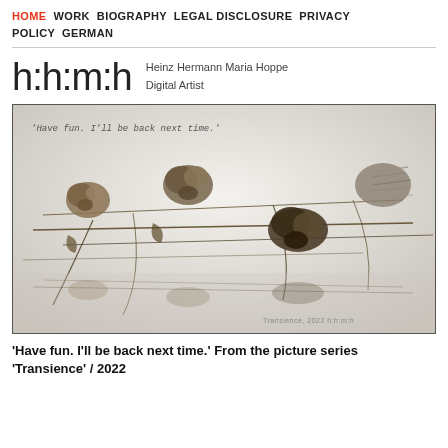HOME  WORK  BIOGRAPHY  LEGAL DISCLOSURE  PRIVACY POLICY  GERMAN
h:h:m:h  Heinz Hermann Maria Hoppe Digital Artist
[Figure (photo): Artistic photograph of dried flowers and plants arranged on a light background with the handwritten text 'Have fun. I'll be back next time.' at the top. The image shows withered botanical specimens with their reflections, from the picture series 'Transience' 2022.]
'Have fun. I'll be back next time.' From the picture series 'Transience' / 2022